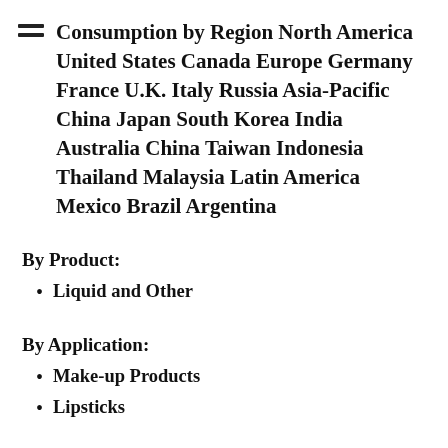Consumption by Region North America United States Canada Europe Germany France U.K. Italy Russia Asia-Pacific China Japan South Korea India Australia China Taiwan Indonesia Thailand Malaysia Latin America Mexico Brazil Argentina
By Product:
Liquid and Other
By Application:
Make-up Products
Lipsticks